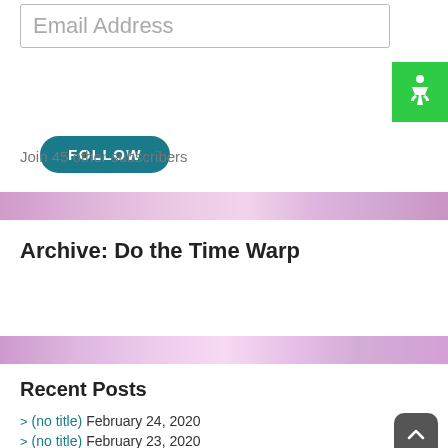Email Address
FOLLOW
Join 45 other subscribers
[Figure (illustration): Pink/purple decorative banner divider]
Archive: Do the Time Warp
Select Month
[Figure (illustration): Pink/purple decorative banner divider]
Recent Posts
(no title) February 24, 2020
(no title) February 23, 2020
(no title) February 22, 2020